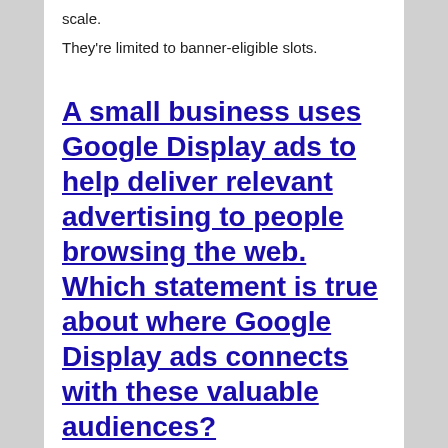scale.
They're limited to banner-eligible slots.
A small business uses Google Display ads to help deliver relevant advertising to people browsing the web. Which statement is true about where Google Display ads connects with these valuable audiences?